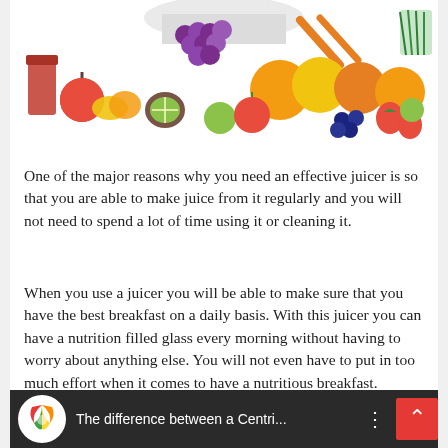[Figure (photo): A colorful assortment of fresh fruits including grapes, oranges, kiwis, limes, strawberries, apples, tomatoes, blueberries, and a glass of red juice arranged together against a white background.]
One of the major reasons why you need an effective juicer is so that you are able to make juice from it regularly and you will not need to spend a lot of time using it or cleaning it.
When you use a juicer you will be able to make sure that you have the best breakfast on a daily basis. With this juicer you can have a nutrition filled glass every morning without having to worry about anything else. You will not even have to put in too much effort when it comes to have a nutritious breakfast.
[Figure (screenshot): A video thumbnail bar showing a colorful logo on the left and the text 'The difference between a Centri...' with three dots menu on a dark background.]